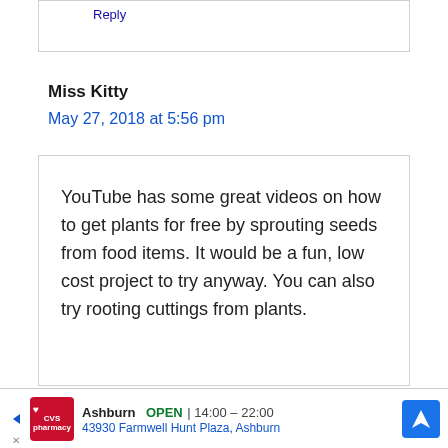Reply
Miss Kitty
May 27, 2018 at 5:56 pm
YouTube has some great videos on how to get plants for free by sprouting seeds from food items. It would be a fun, low cost project to try anyway. You can also try rooting cuttings from plants.
Ashburn OPEN | 14:00 – 22:00 43930 Farmwell Hunt Plaza, Ashburn